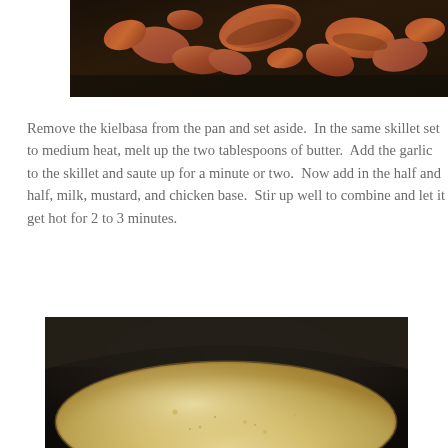[Figure (photo): Close-up photo of sliced kielbasa sausage pieces cooking in a dark skillet/pan, pieces are browned and caramelized]
Remove the kielbasa from the pan and set aside.  In the same skillet set to medium heat, melt up the two tablespoons of butter.  Add the garlic to the skillet and saute up for a minute or two.  Now add in the half and half, milk, mustard, and chicken base.  Stir up well to combine and let it get hot for 2 to 3 minutes.
[Figure (photo): Close-up photo of a creamy pale yellow sauce/liquid in a dark cast iron skillet, viewed from above showing the rim of the pan and the cream sauce inside]